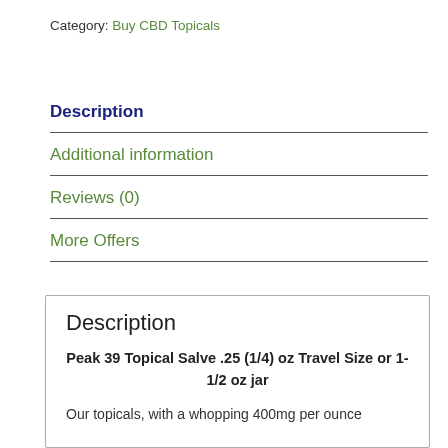Category: Buy CBD Topicals
Description
Additional information
Reviews (0)
More Offers
Description
Peak 39 Topical Salve .25 (1/4) oz Travel Size or 1-1/2 oz jar
Our topicals, with a whopping 400mg per ounce